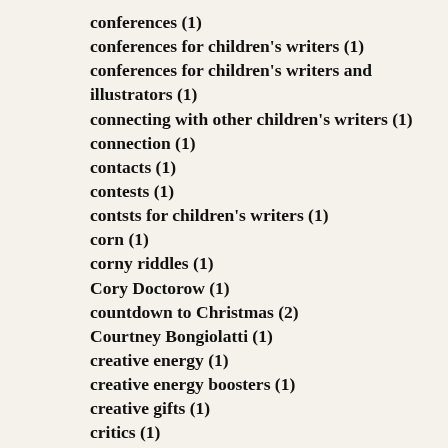conferences (1)
conferences for children's writers (1)
conferences for children's writers and illustrators (1)
connecting with other children's writers (1)
connection (1)
contacts (1)
contests (1)
contsts for children's writers (1)
corn (1)
corny riddles (1)
Cory Doctorow (1)
countdown to Christmas (2)
Courtney Bongiolatti (1)
creative energy (1)
creative energy boosters (1)
creative gifts (1)
critics (1)
Critique Across Missouri (2)